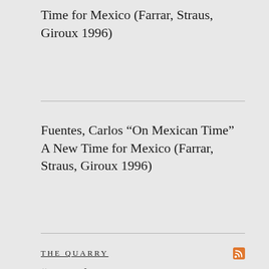Time for Mexico (Farrar, Straus, Giroux 1996)
Fuentes, Carlos “On Mexican Time” A New Time for Mexico (Farrar, Straus, Giroux 1996)
THE QUARRY
"As I left the museum, I thought about how both recent and past protests of museums are also..."